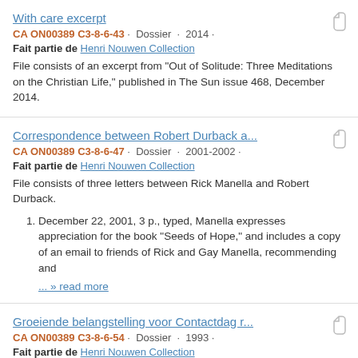With care excerpt
CA ON00389 C3-8-6-43 · Dossier · 2014 ·
Fait partie de Henri Nouwen Collection
File consists of an excerpt from "Out of Solitude: Three Meditations on the Christian Life," published in The Sun issue 468, December 2014.
Correspondence between Robert Durback a...
CA ON00389 C3-8-6-47 · Dossier · 2001-2002 ·
Fait partie de Henri Nouwen Collection
File consists of three letters between Rick Manella and Robert Durback.
December 22, 2001, 3 p., typed, Manella expresses appreciation for the book "Seeds of Hope," and includes a copy of an email to friends of Rick and Gay Manella, recommending and
... » read more
Groeiende belangstelling voor Contactdag r...
CA ON00389 C3-8-6-54 · Dossier · 1993 ·
Fait partie de Henri Nouwen Collection